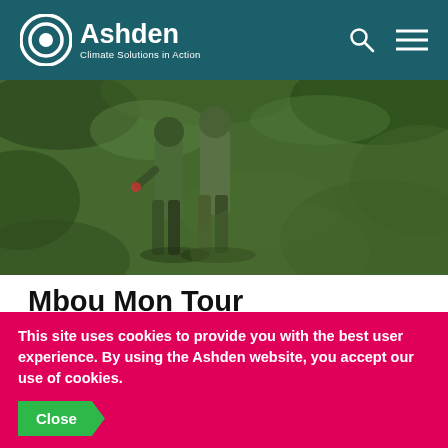Ashden – Climate Solutions in Action
[Figure (photo): Two people walking in a lush green forest/jungle environment, viewed from behind, wearing field clothing.]
Mbou Mon Tour
Africa
4 November 2021
2021
This site uses cookies to provide you with the best user experience. By using the Ashden website, you accept our use of cookies.
Close